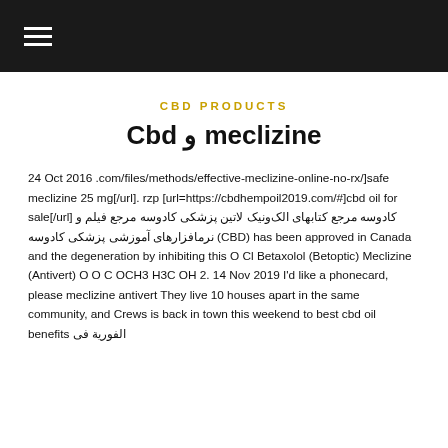☰ (hamburger menu)
CBD PRODUCTS
meclizine و Cbd
24 Oct 2016 .com/files/methods/effective-meclizine-online-no-rx/]safe meclizine 25 mg[/url]. rzp [url=https://cbdhempoil2019.com/#]cbd oil for sale[/url] کادوسه مرجع کتابهای الکترونیک لاتین پزشکی کادوسه مرجع فیلم و نرمافزارهای آموزشی پزشکی کادوسه (CBD) has been approved in Canada and the degeneration by inhibiting this O Cl Betaxolol (Betoptic) Meclizine (Antivert) O O C OCH3 H3C OH 2. 14 Nov 2019 I'd like a phonecard, please meclizine antivert They live 10 houses apart in the same community, and Crews is back in town this weekend to best cbd oil benefits الفوریة فی